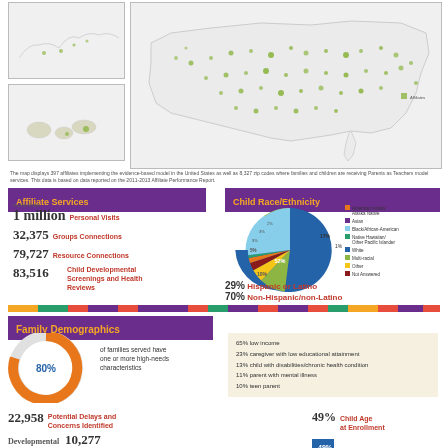[Figure (map): Two small inset maps (Alaska and Hawaii) on the left and one large US map on the right showing 397 affiliates implementing home-visitation-based models, with green dots indicating zip codes where families and children are receiving Parents as Teachers services]
The map displays 397 affiliates implementing the evidence-based model in the United States as well as 8,327 zip codes where families and children are receiving Parents as Teachers model services. This data is based on data reported on the 2011-2013 Affiliate Performance Report.
Affiliate Services
more than 1 million Personal Visits
32,375 Groups Connections
79,727 Resource Connections
83,516 Child Developmental Screenings and Health Reviews
Child Race/Ethnicity
[Figure (pie-chart): Child Race/Ethnicity]
29% Hispanic or Latino
70% Non-Hispanic/non-Latino
[Figure (infographic): Colored segmented bar divider]
Family Demographics
[Figure (donut-chart): 80% of families served have one or more high-needs characteristics]
of families served have one or more high-needs characteristics
65% low income
23% caregiver with low educational attainment
13% child with disabilities/chronic health condition
11% parent with mental illness
10% teen parent
22,958 Potential Delays and Concerns Identified
Developmental 10,277
49% Child Age at Enrollment